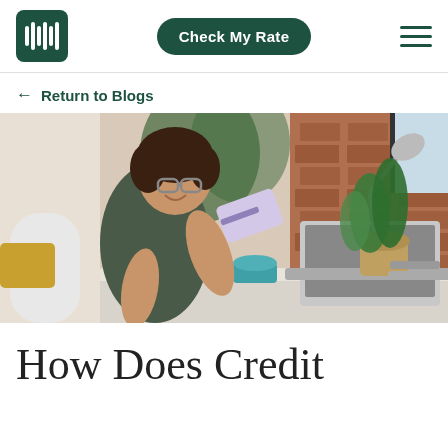Check My Rate
← Return to Blogs
[Figure (photo): Woman sitting at a desk, smiling, holding a credit card and using a laptop. A blue coffee mug, desk lamp, plant, and brick wall are visible in the background.]
How Does Credit